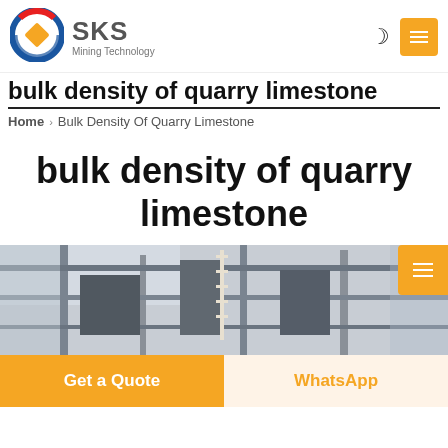[Figure (logo): SKS Mining Technology logo with red/blue circular arrows and gold diamond shape]
SKS Mining Technology
bulk density of quarry limestone
Home › Bulk Density Of Quarry Limestone
bulk density of quarry limestone
[Figure (photo): Industrial mining equipment or factory interior with metal structures and machinery]
Get a Quote
WhatsApp